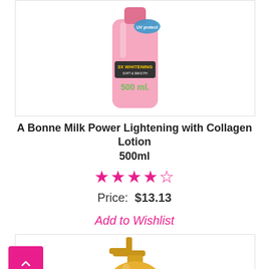[Figure (photo): Pink pump bottle of A Bonne Milk Power Lightening with Collagen Lotion 500ml, partially visible, cropped at top]
A Bonne Milk Power Lightening with Collagen Lotion 500ml
★★★★★ (star rating, approximately 4.5 stars in pink)
Price:  $13.13
Add to Wishlist
[Figure (photo): Gold pump bottle of another product, partially visible, cut off at bottom of page]